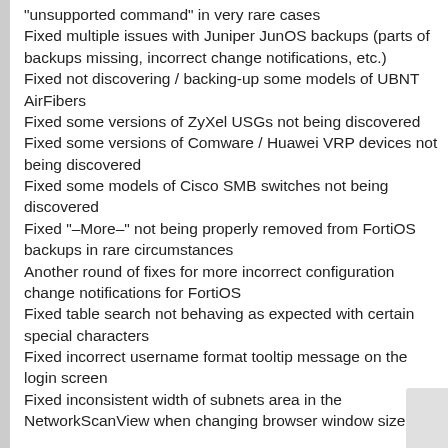“unsupported command” in very rare cases
Fixed multiple issues with Juniper JunOS backups (parts of backups missing, incorrect change notifications, etc.)
Fixed not discovering / backing-up some models of UBNT AirFibers
Fixed some versions of ZyXel USGs not being discovered
Fixed some versions of Comware / Huawei VRP devices not being discovered
Fixed some models of Cisco SMB switches not being discovered
Fixed “–More–” not being properly removed from FortiOS backups in rare circumstances
Another round of fixes for more incorrect configuration change notifications for FortiOS
Fixed table search not behaving as expected with certain special characters
Fixed incorrect username format tooltip message on the login screen
Fixed inconsistent width of subnets area in the NetworkScanView when changing browser window size